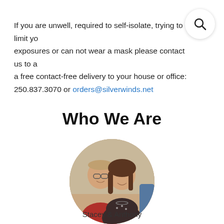If you are unwell, required to self-isolate, trying to limit your exposures or can not wear a mask please contact us to arrange a free contact-free delivery to your house or office: 250.837.3070 or orders@silverwinds.net
Who We Are
[Figure (photo): Circular portrait photo of two people (Stacey and Anthony) smiling together. The man on the left wears glasses and a red shirt; the woman on the right has brown hair and wears a dark top with a necklace.]
Stacey & Anthony